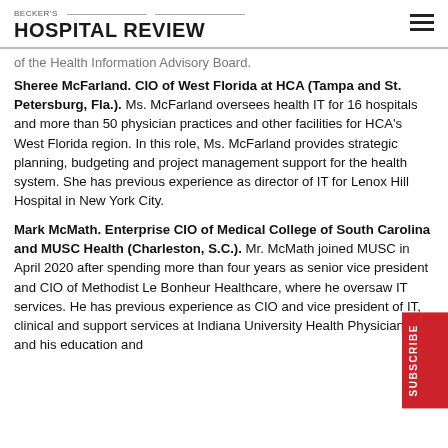BECKER'S HOSPITAL REVIEW
of the Health Information Advisory Board.
Sheree McFarland. CIO of West Florida at HCA (Tampa and St. Petersburg, Fla.). Ms. McFarland oversees health IT for 16 hospitals and more than 50 physician practices and other facilities for HCA's West Florida region. In this role, Ms. McFarland provides strategic planning, budgeting and project management support for the health system. She has previous experience as director of IT for Lenox Hill Hospital in New York City.
Mark McMath. Enterprise CIO of Medical College of South Carolina and MUSC Health (Charleston, S.C.). Mr. McMath joined MUSC in April 2020 after spending more than four years as senior vice president and CIO of Methodist Le Bonheur Healthcare, where he oversaw IT services. He has previous experience as CIO and vice president of IT, clinical and support services at Indiana University Health Physicians and his education and...